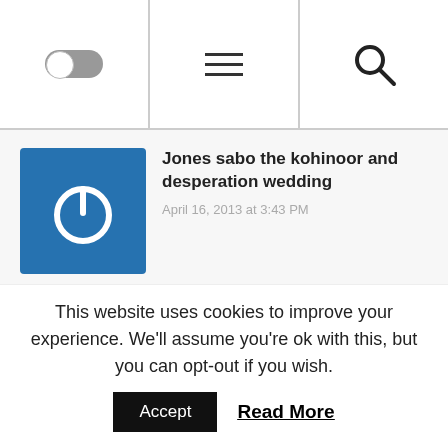[Navigation bar with toggle switch, hamburger menu, and search icon]
Jones sabo the kohinoor and desperation wedding
April 16, 2013 at 3:43 PM
I'll immediately seize your rss feed as I can't to find your email subscription link or e-newsletter service. Do you've any? Kindly allow me understand so that I may just subscribe.
This website uses cookies to improve your experience. We'll assume you're ok with this, but you can opt-out if you wish.
Accept   Read More